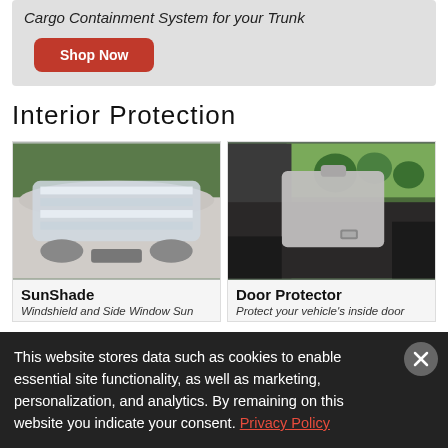Cargo Containment System for your Trunk
Shop Now
Interior Protection
[Figure (photo): Car windshield with silver reflective sunshade installed, viewed from outside the vehicle.]
SunShade
Windshield and Side Window Sun
[Figure (photo): Interior of a vehicle showing a gray door protector attached to the inside of the rear door, with trees visible through the window.]
Door Protector
Protect your vehicle's inside door
This website stores data such as cookies to enable essential site functionality, as well as marketing, personalization, and analytics. By remaining on this website you indicate your consent. Privacy Policy